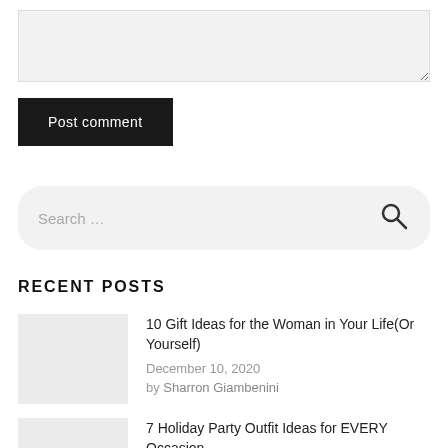[Figure (screenshot): Comment textarea input field with resize handle]
Post comment
[Figure (screenshot): Search bar with search icon]
RECENT POSTS
10 Gift Ideas for the Woman in Your Life(Or Yourself) — December 10, 2020 — by Sharron Giambenini
7 Holiday Party Outfit Ideas for EVERY Occasion